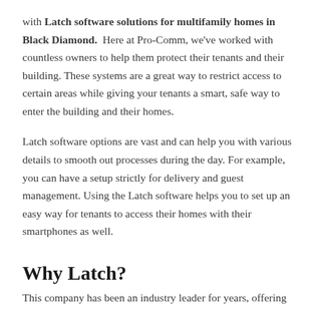with Latch software solutions for multifamily homes in Black Diamond.  Here at Pro-Comm, we've worked with countless owners to help them protect their tenants and their building. These systems are a great way to restrict access to certain areas while giving your tenants a smart, safe way to enter the building and their homes.
Latch software options are vast and can help you with various details to smooth out processes during the day. For example, you can have a setup strictly for delivery and guest management. Using the Latch software helps you to set up an easy way for tenants to access their homes with their smartphones as well.
Why Latch?
This company has been an industry leader for years, offering